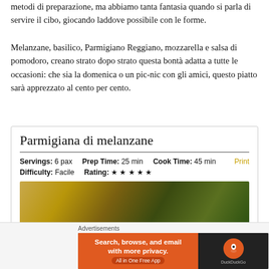metodi di preparazione, ma abbiamo tanta fantasia quando si parla di servire il cibo, giocando laddove possibile con le forme.
Melanzane, basilico, Parmigiano Reggiano, mozzarella e salsa di pomodoro, creano strato dopo strato questa bontà adatta a tutte le occasioni: che sia la domenica o un pic-nic con gli amici, questo piatto sarà apprezzato al cento per cento.
Parmigiana di melanzane
Servings: 6 pax   Prep Time: 25 min   Cook Time: 45 min   Difficulty: Facile   Rating: ★ ★ ★ ★ ★   Print
[Figure (photo): Photo of parmigiana di melanzane dish]
Advertisements
[Figure (screenshot): DuckDuckGo advertisement banner: Search, browse, and email with more privacy. All in One Free App.]